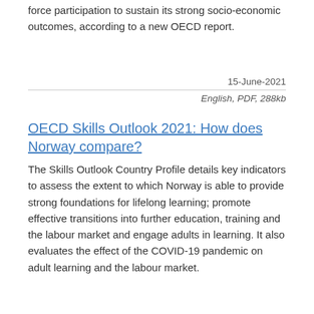force participation to sustain its strong socio-economic outcomes, according to a new OECD report.
15-June-2021
English, PDF, 288kb
OECD Skills Outlook 2021: How does Norway compare?
The Skills Outlook Country Profile details key indicators to assess the extent to which Norway is able to provide strong foundations for lifelong learning; promote effective transitions into further education, training and the labour market and engage adults in learning. It also evaluates the effect of the COVID-19 pandemic on adult learning and the labour market.
19-May-2021
English, PDF, 277kb
Share